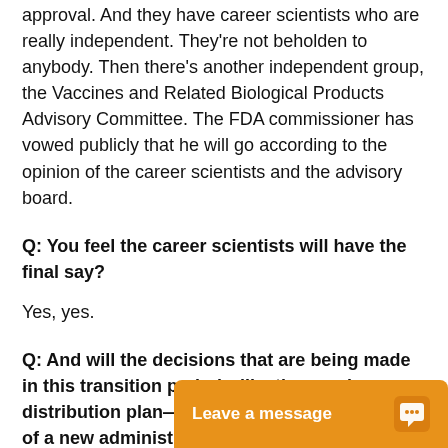approval. And they have career scientists who are really independent. They're not beholden to anybody. Then there's another independent group, the Vaccines and Related Biological Products Advisory Committee. The FDA commissioner has vowed publicly that he will go according to the opinion of the career scientists and the advisory board.
Q: You feel the career scientists will have the final say?
Yes, yes.
Q: And will the decisions that are being made in this transition period—like the vaccine distribution plan—in any way limit the options of a new administration?
No, I don't think so. I thin
Leave a message